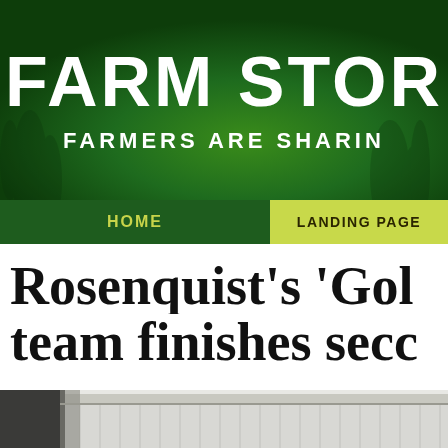FARM STOR | FARMERS ARE SHARIN
HOME | LANDING PAGE
Rosenquist's 'Gol team finishes seco
[Figure (photo): Partial view of a metal barn or agricultural building exterior, showing corrugated metal siding and roof edge.]